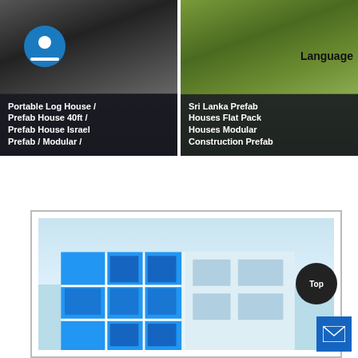[Figure (photo): Logo icon — circular blue shape with white cutout]
Language
[Figure (photo): Product card: dark construction/log image with text overlay: Portable Log House / Prefab House 40ft / Prefab House Israel Prefab / Modular /]
[Figure (photo): Product card: green foliage background with text overlay: Sri Lanka Prefab Houses Flat Pack Houses Modular Construction Prefab]
[Figure (photo): Bottom framed card showing a modern prefab/modular building with blue glazing panels against light sky]
Top
[Figure (illustration): Mail/envelope icon button in blue square]